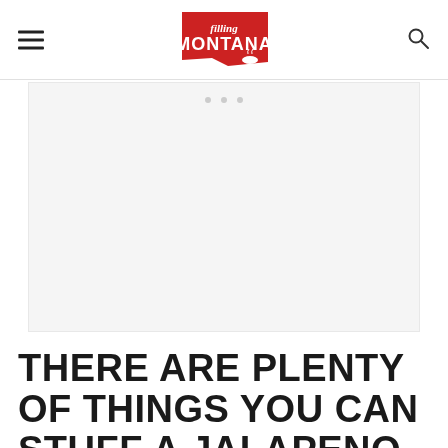Filling Montana (logo)
[Figure (other): Advertisement / placeholder image area with three gray dots at top center]
THERE ARE PLENTY OF THINGS YOU CAN STUFF A JALAPENO